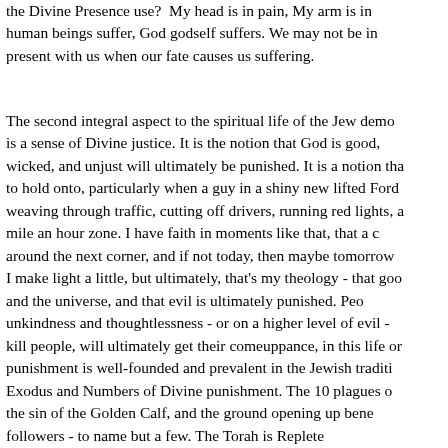the Divine Presence use? My head is in pain, My arm is in pain… human beings suffer, God godself suffers. We may not be in… present with us when our fate causes us suffering.
The second integral aspect to the spiritual life of the Jew demo… is a sense of Divine justice. It is the notion that God is good, wicked, and unjust will ultimately be punished. It is a notion tha… to hold onto, particularly when a guy in a shiny new lifted Ford weaving through traffic, cutting off drivers, running red lights, a… mile an hour zone. I have faith in moments like that, that a c… around the next corner, and if not today, then maybe tomorrow… I make light a little, but ultimately, that's my theology - that goo… and the universe, and that evil is ultimately punished. Peo… unkindness and thoughtlessness - or on a higher level of evil -… kill people, will ultimately get their comeuppance, in this life or… punishment is well-founded and prevalent in the Jewish traditio… Exodus and Numbers of Divine punishment. The 10 plagues o… the sin of the Golden Calf, and the ground opening up bene… followers - to name but a few. The Torah is Replete…